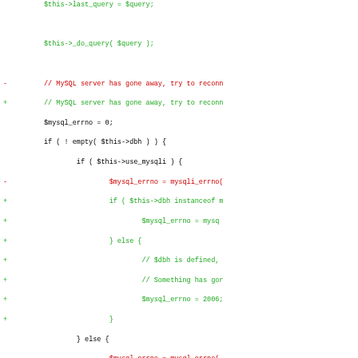[Figure (screenshot): A code diff view showing PHP code for a WordPress database class (wpdb). The diff shows changes to error handling logic for MySQL connection errors, with red lines (removals marked with -) and green lines (additions marked with +). A hunk header in purple shows @@ -1672,11 +1784,19 @@ class wpdb {. The code involves $mysql_errno, mysqli_errno, is_resource checks, and $this->dbh handling.]